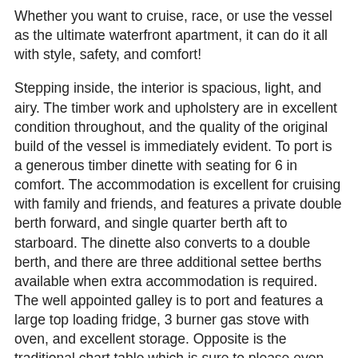Whether you want to cruise, race, or use the vessel as the ultimate waterfront apartment, it can do it all with style, safety, and comfort!
Stepping inside, the interior is spacious, light, and airy. The timber work and upholstery are in excellent condition throughout, and the quality of the original build of the vessel is immediately evident. To port is a generous timber dinette with seating for 6 in comfort. The accommodation is excellent for cruising with family and friends, and features a private double berth forward, and single quarter berth aft to starboard. The dinette also converts to a double berth, and there are three additional settee berths available when extra accommodation is required. The well appointed galley is to port and features a large top loading fridge, 3 burner gas stove with oven, and excellent storage. Opposite is the traditional chart table which is sure to please even the most discerning sailor. The package is complete with